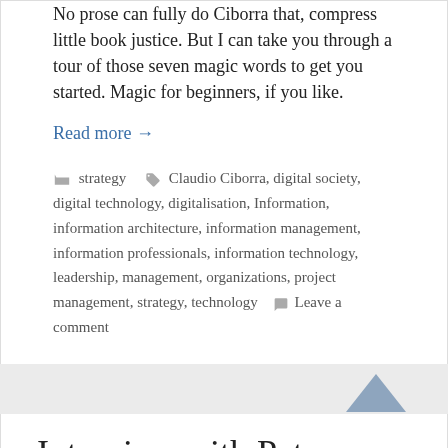No prose can fully do Ciborra that, compress little book justice. But I can take you through a tour of those seven magic words to get you started. Magic for beginners, if you like.
Read more →
strategy   Claudio Ciborra, digital society, digital technology, digitalisation, Information, information architecture, information management, information professionals, information technology, leadership, management, organizations, project management, strategy, technology   Leave a comment
Interview with Peter